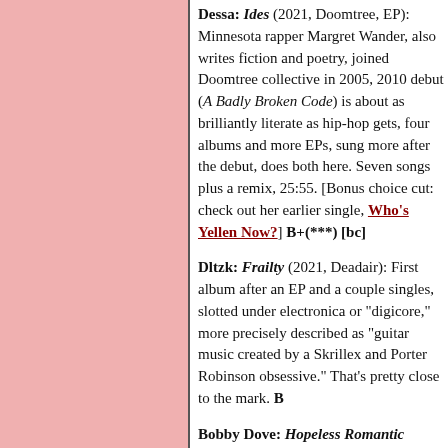Dessa: Ides (2021, Doomtree, EP): Minnesota rapper Margret Wander, also writes fiction and poetry, joined Doomtree collective in 2005, 2010 debut (A Badly Broken Code) is about as brilliantly literate as hip-hop gets, four albums and more EPs, sung more after the debut, does both here. Seven songs plus a remix, 25:55. [Bonus choice cut: check out her earlier single, Who's Yellen Now?] B+(***) [bc]
Dltzk: Frailty (2021, Deadair): First album after an EP and a couple singles, slotted under electronica or "digicore," more precisely described as "guitar music created by a Skrillex and Porter Robinson obsessive." That's pretty close to the mark. B
Bobby Dove: Hopeless Romantic